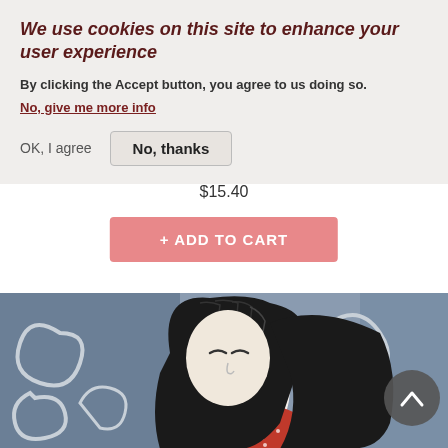We use cookies on this site to enhance your user experience
By clicking the Accept button, you agree to us doing so.
No, give me more info
OK, I agree
No, thanks
$15.40
+ ADD TO CART
[Figure (illustration): Illustrated character with long black hair wearing a red patterned scarf, against a grey decorative background with swirling motifs]